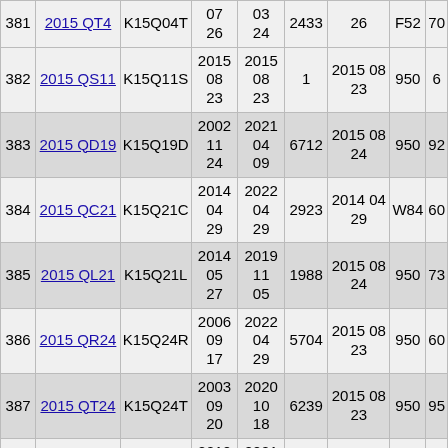| # | Name | Code | Start | End | Num | Date2 | Cls | N |
| --- | --- | --- | --- | --- | --- | --- | --- | --- |
| 381 | 2015 QT4 | K15Q04T | 2015 07 26 | 2015 03 24 | 2433 | 2015 07 26 | F52 | 70 |
| 382 | 2015 QS11 | K15Q11S | 2015 08 23 | 2015 08 23 | 1 | 2015 08 23 | 950 | 6 |
| 383 | 2015 QD19 | K15Q19D | 2002 11 24 | 2021 04 09 | 6712 | 2015 08 24 | 950 | 92 |
| 384 | 2015 QC21 | K15Q21C | 2014 04 29 | 2022 04 29 | 2923 | 2014 04 29 | W84 | 60 |
| 385 | 2015 QL21 | K15Q21L | 2014 05 27 | 2019 11 05 | 1988 | 2015 08 24 | 950 | 73 |
| 386 | 2015 QR24 | K15Q24R | 2006 09 17 | 2022 04 29 | 5704 | 2015 08 23 | 950 | 60 |
| 387 | 2015 QT24 | K15Q24T | 2003 09 20 | 2020 10 18 | 6239 | 2015 08 23 | 950 | 95 |
| 388 | 2015 RX190 | K15RJ0X | 2010 11 12 | 2021 12 27 | 4063 | 2010 11 12 | G96 | 87 |